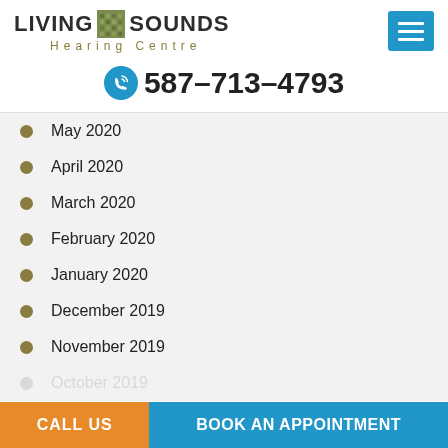[Figure (logo): Living Sounds Hearing Centre logo with green textured square icon between LIVING and SOUNDS text, and 'Hearing Centre' subtitle]
[Figure (other): Blue hamburger menu button with three white horizontal lines]
587-713-4793
May 2020
April 2020
March 2020
February 2020
January 2020
December 2019
November 2019
October 2019
CALL US
BOOK AN APPOINTMENT